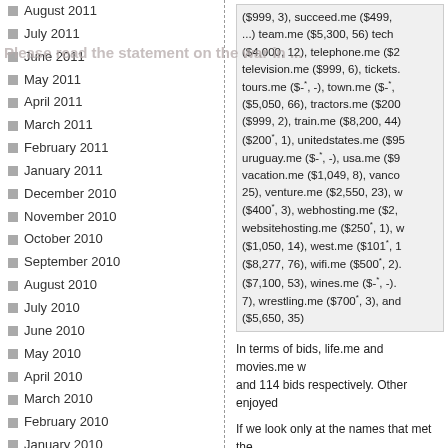August 2011
July 2011
June 2011
May 2011
April 2011
March 2011
February 2011
January 2011
December 2010
November 2010
October 2010
September 2010
August 2010
July 2010
June 2010
May 2010
April 2010
March 2010
February 2010
January 2010
December 2009
November 2009
October 2009
September 2009
August 2009
July 2009
June 2009
($999, 3), succeed.me ($499, ...), team.me ($5,300, 56), tech... ($4,000, 12), telephone.me ($2...), television.me ($999, 6), tickets.... tours.me ($-*, -), town.me ($-*, ...) ($5,050, 66), tractors.me ($200...) ($999, 2), train.me ($8,200, 44)... ($200*, 1), unitedstates.me ($95...) uruguay.me ($-*, -), usa.me ($9...) vacation.me ($1,049, 8), vanco... 25), venture.me ($2,550, 23), w... ($400*, 3), webhosting.me ($2,...) websitehosting.me ($250*, 1), w... ($1,050, 14), west.me ($101*, 1...) ($8,277, 76), wifi.me ($500*, 2)... ($7,100, 53), wines.me ($-*, -)... 7), wrestling.me ($700*, 3), and... ($5,650, 35)
In terms of bids, life.me and movies.me w... and 114 bids respectively. Other enjoyed...
If we look only at the names that met the... the average take was $3,656 per domain... than during the premium auction one yea...
Thus talking about the sales, this is the le...